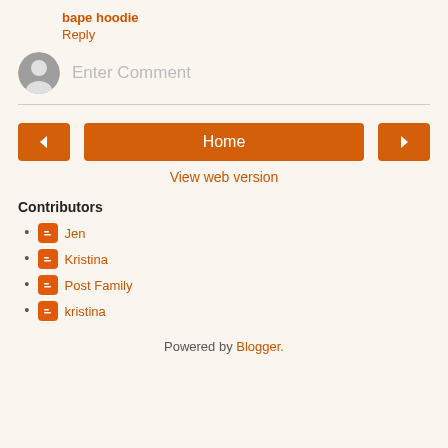bape hoodie
Reply
[Figure (other): Comment input field with avatar icon and placeholder text 'Enter Comment']
[Figure (other): Navigation buttons: left arrow, Home button, right arrow]
View web version
Contributors
Jen
Kristina
Post Family
kristina
Powered by Blogger.